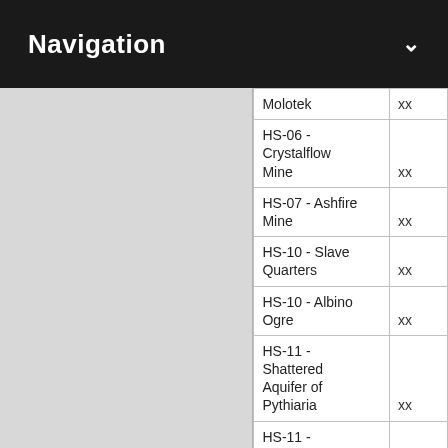Navigation
| Molotek | xx |
| HS-06 - Crystalflow Mine | xx |
| HS-07 - Ashfire Mine | xx |
| HS-10 - Slave Quarters | xx |
| HS-10 - Albino Ogre | xx |
| HS-11 - Shattered Aquifer of Pythiaria | xx |
| HS-11 - Sopkatok | xx |
| HS-14 - Colossal Crab | xx |